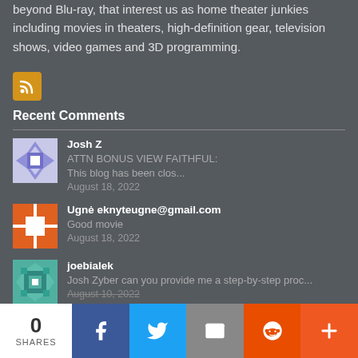beyond Blu-ray, that interest us as home theater junkies including movies in theaters, high-definition gear, television shows, video games and 3D programming.
Recent Comments
Josh Z — ATTN BONUS VIEW FAITHFUL: This blog has been clos... — August 18, 2022
Ugnė eknyteugne@gmail.com — Good movie — August 18, 2022
joebialek — Josh Zyber can you provide me a step-by-step proc... — August 10, 2022
0 SHARES | Facebook | Twitter | Email | Reddit | More